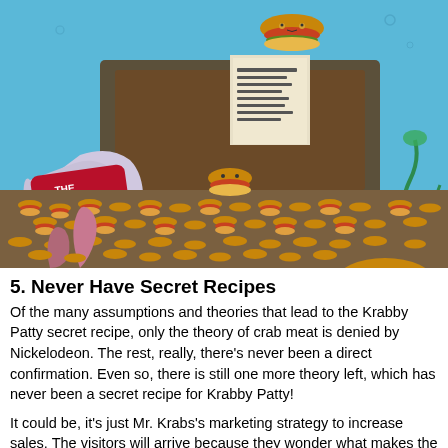[Figure (illustration): A scene from SpongeBob SquarePants showing the Krusty Krab restaurant sign on the left, surrounded by countless Krabby Patty burgers filling the floor, with a large Krabby Patty floating in the sky and another on the right. A purple octopus-like creature is visible, along with underwater elements like coral and blue ocean background.]
5. Never Have Secret Recipes
Of the many assumptions and theories that lead to the Krabby Patty secret recipe, only the theory of crab meat is denied by Nickelodeon. The rest, really, there's never been a direct confirmation. Even so, there is still one more theory left, which has never been a secret recipe for Krabby Patty!
It could be, it's just Mr. Krabs's marketing strategy to increase sales. The visitors will arrive because they wonder what makes the Krabby Patty taste good. What's more, during cooking, SpongeBob has never been seen adding